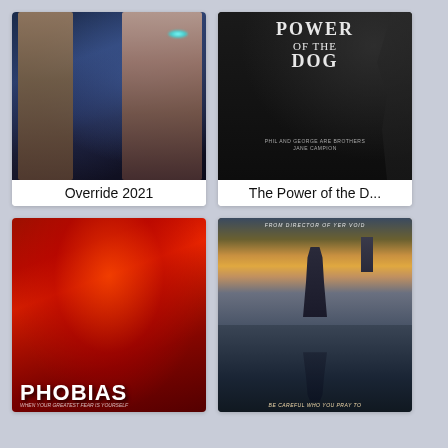[Figure (photo): Movie poster for Override 2021 showing a male figure on the left and a woman with dramatic makeup and dark lips on the right, with blue tones]
Override 2021
[Figure (photo): Movie poster for The Power of the Dog showing bold white text on dark background with a tree silhouette]
The Power of the D...
[Figure (photo): Movie poster for Phobias showing a distorted red-toned face with white PHOBIAS text at the bottom]
PHOBIAS
[Figure (photo): Horror movie poster showing a dark robed figure reflected in water with a church silhouette at dusk, orange and teal color palette]